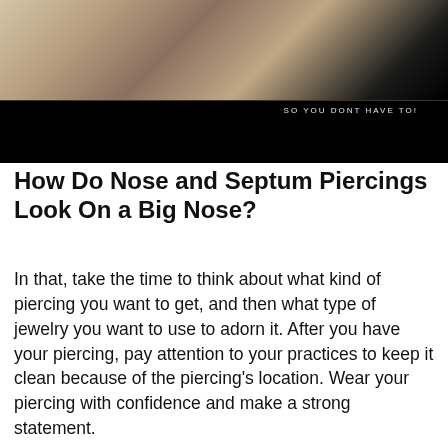[Figure (photo): Photo of a woman wearing a grey tank top and layered gold necklaces with long dark hair, partially cropped. Text overlay reads 'SO YOU DONT HAVE TO!' in white letters. Lower portion has a black bar.]
How Do Nose and Septum Piercings Look On a Big Nose?
In that, take the time to think about what kind of piercing you want to get, and then what type of jewelry you want to use to adorn it. After you have your piercing, pay attention to your practices to keep it clean because of the piercing's location. Wear your piercing with confidence and make a strong statement.